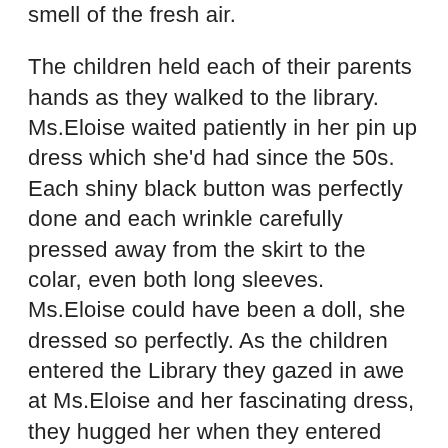smell of the fresh air.
The children held each of their parents hands as they walked to the library. Ms.Eloise waited patiently in her pin up dress which she'd had since the 50s. Each shiny black button was perfectly done and each wrinkle carefully pressed away from the skirt to the colar, even both long sleeves. Ms.Eloise could have been a doll, she dressed so perfectly. As the children entered the Library they gazed in awe at Ms.Eloise and her fascinating dress, they hugged her when they entered giggling with joy. Ms.Eloise hugged the children back, greeting all of them by name. She led the children to the couches and she pulled out the storybook. Some parents gathered with the children, and some wandered the library alone.
Ms.Eloise drew in a long willful breath before starting "Alright sweet peas, we're on the fifth chapter of our